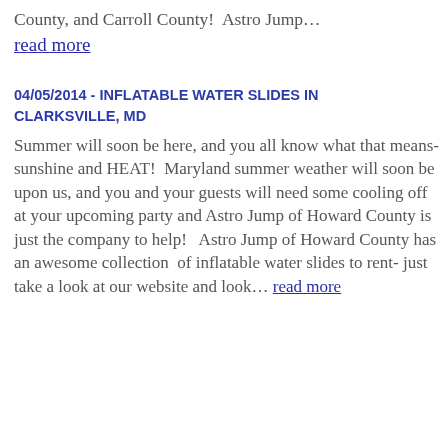County, and Carroll County!  Astro Jump… read more
04/05/2014 - INFLATABLE WATER SLIDES IN CLARKSVILLE, MD
Summer will soon be here, and you all know what that means- sunshine and HEAT!  Maryland summer weather will soon be upon us, and you and your guests will need some cooling off at your upcoming party and Astro Jump of Howard County is just the company to help!   Astro Jump of Howard County has an awesome collection  of inflatable water slides to rent- just take a look at our website and look… read more